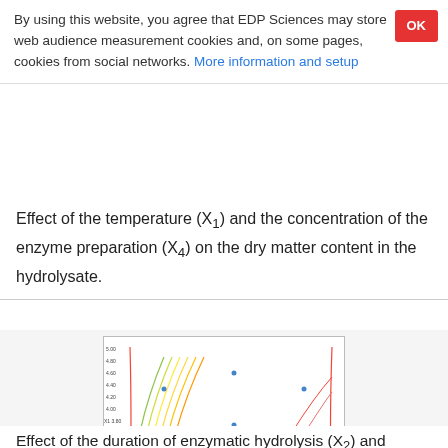By using this website, you agree that EDP Sciences may store web audience measurement cookies and, on some pages, cookies from social networks. More information and setup
Effect of the temperature (X₁) and the concentration of the enzyme preparation (X₄) on the dry matter content in the hydrolysate.
[Figure (continuous-plot): Contour plot showing the effect of X2 (x-axis, values 20-160) and X4 (y-axis, values 0.00-5.00) with colored contour lines representing dry matter content levels, labeled 5.0, 5.2, 5.4, 5.5, 5.8, 5.9, and data point markers (blue dots) scattered across the plot area.]
Fig. 4.
Effect of the duration of enzymatic hydrolysis (X₂) and